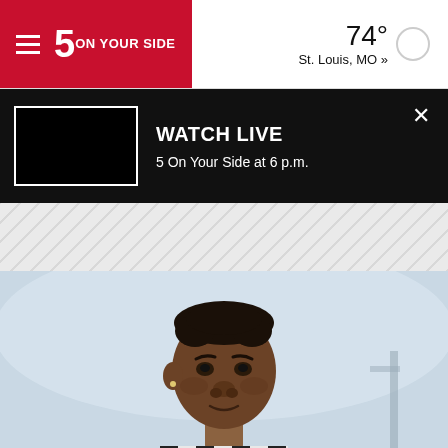5 ON YOUR SIDE — 74° St. Louis, MO »
WATCH LIVE
5 On Your Side at 6 p.m.
[Figure (photo): Young Black male athlete in black and white sports jersey, looking slightly off-camera with a serious expression, outdoor background with light sky.]